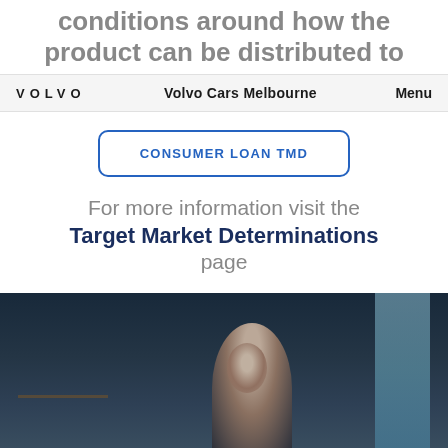conditions around how the product can be distributed to
VOLVO   Volvo Cars Melbourne   Menu
CONSUMER LOAN TMD
For more information visit the Target Market Determinations page
[Figure (photo): Photograph of an older man with grey hair and glasses, seated near a window in a modern interior setting with a shelf visible in the background.]